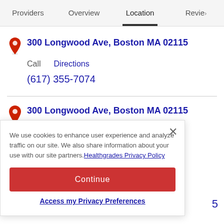Providers  Overview  Location  Revie›
300 Longwood Ave, Boston MA 02115
Call   Directions
(617) 355-7074
300 Longwood Ave, Boston MA 02115
We use cookies to enhance user experience and analyze traffic on our site. We also share information about your use with our site partners. Healthgrades Privacy Policy
Continue
Access my Privacy Preferences